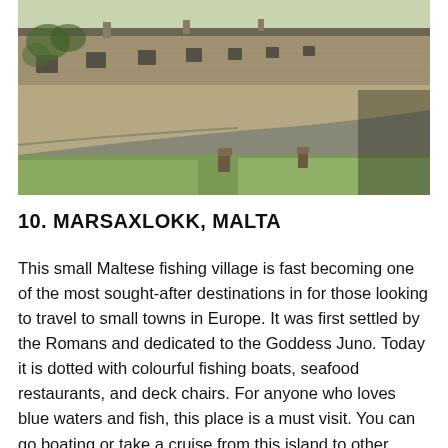[Figure (photo): A row of old stone cottages with ivy and stone walls lining a curved road, with trimmed grass and tree stumps in the foreground under bright daylight.]
10. MARSAXLOKK, MALTA
This small Maltese fishing village is fast becoming one of the most sought-after destinations in for those looking to travel to small towns in Europe. It was first settled by the Romans and dedicated to the Goddess Juno. Today it is dotted with colourful fishing boats, seafood restaurants, and deck chairs. For anyone who loves blue waters and fish, this place is a must visit. You can go boating or take a cruise from this island to other nearby islands in Malta. The fishing village of Marsaxlokk situated in the South Eastern part of